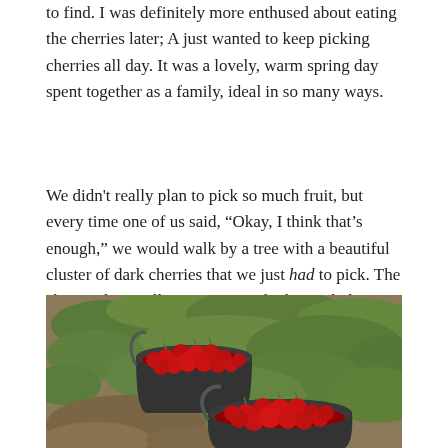to find. I was definitely more enthused about eating the cherries later; A just wanted to keep picking cherries all day. It was a lovely, warm spring day spent together as a family, ideal in so many ways.
We didn't really plan to pick so much fruit, but every time one of us said, “Okay, I think that’s enough,” we would walk by a tree with a beautiful cluster of dark cherries that we just had to pick. The cherries kept calling to me, so I had to pick them!
[Figure (photo): Two black buckets filled with bright red cherries, sitting on dirt and green weedy ground. The left bucket is fuller and positioned higher; the right bucket is slightly lower and in the foreground.]